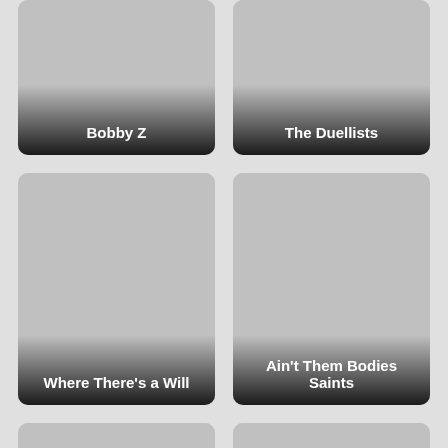[Figure (illustration): Movie card thumbnail for 'Bobby Z' with gray background and dark gradient at bottom with white bold title text]
[Figure (illustration): Movie card thumbnail for 'The Duellists' with gray background and dark gradient at bottom with white bold title text]
[Figure (illustration): Movie card thumbnail for 'Where There’s a Will' with gray background and dark gradient at bottom with white bold title text]
[Figure (illustration): Movie card thumbnail for 'Ain’t Them Bodies Saints' with gray background and dark gradient at bottom with white bold title text]
[Figure (illustration): Partial movie card thumbnail at bottom-left, no title visible, gray background]
[Figure (illustration): Partial movie card thumbnail at bottom-right, no title visible, gray background]